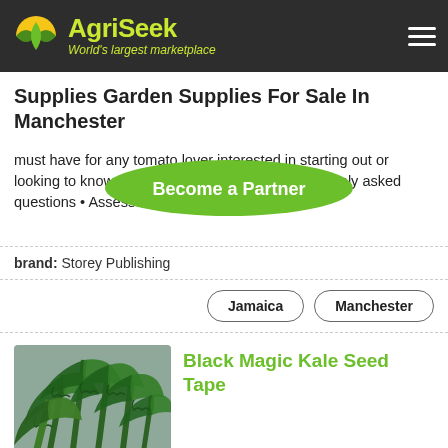AgriSeek — World's largest marketplace
Supplies Garden Supplies For Sale In Manchester
must have for any tomato lover interested in starting out or looking to know more. Features: • Answers commonly asked questions • Assesses different growing...
brand: Storey Publishing
Jamaica   Manchester
Black Magic Kale Seed Tape